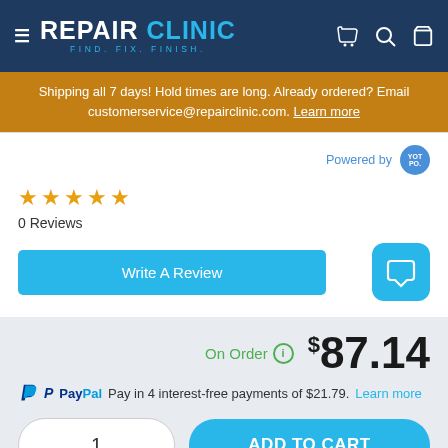REPAIR CLINIC — FIND. FIX. FINISH.
Shipping all 7 days! Hold times are long. Already ordered? Email customerservice@repairclinic.com. Learn more
Powered by [Yotpo]
☆☆☆☆☆ 0 Reviews
Write A Review
On Order  $87.14
PayPal Pay in 4 interest-free payments of $21.79. Learn more
1  ADD TO CART